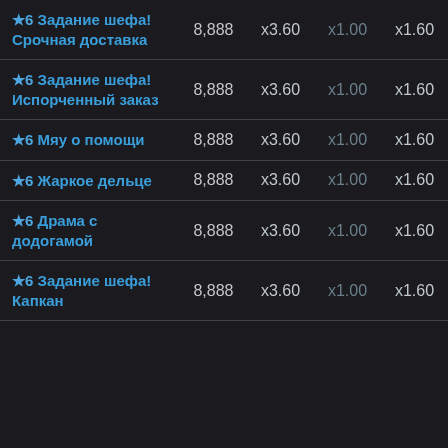| Задание | Очки | Множитель1 | Множитель2 | Множитель3 |
| --- | --- | --- | --- | --- |
| ★6 Задание шефа! Срочная доставка | 8,888 | x3.60 | x1.00 | x1.60 |
| ★6 Задание шефа! Испорченный заказ | 8,888 | x3.60 | x1.00 | x1.60 |
| ★6 Мяу о помощи | 8,888 | x3.60 | x1.00 | x1.60 |
| ★6 Жаркое дельце | 8,888 | x3.60 | x1.00 | x1.60 |
| ★6 Драма с додогамой | 8,888 | x3.60 | x1.00 | x1.60 |
| ★6 Задание шефа! Капкан | 8,888 | x3.60 | x1.00 | x1.60 |